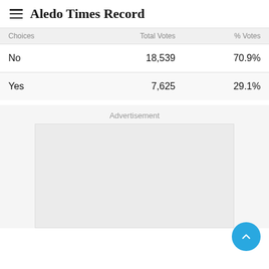Aledo Times Record
| Choices | Total Votes | % Votes |
| --- | --- | --- |
| No | 18,539 | 70.9% |
| Yes | 7,625 | 29.1% |
Advertisement